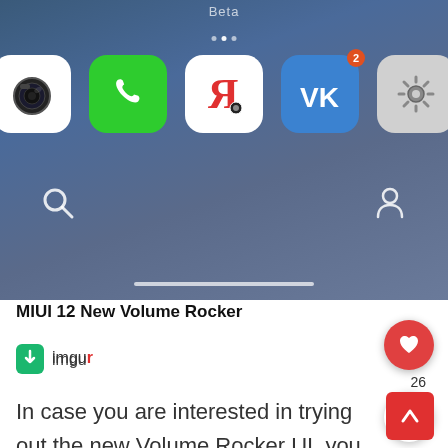[Figure (screenshot): Screenshot of a MIUI 12 Android home screen showing app icons: Camera, Phone, Yandex Browser, VK (with badge showing 2), and Settings. Below the icons are search and profile icons. A white home indicator bar is at the bottom.]
MIUI 12 New Volume Rocker
[Figure (logo): Imgur logo icon (green rounded square with arrow)]
In case you are interested in trying out the new Volume Rocker UI, you can install the System UI Controls App